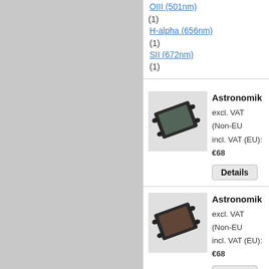OIII (501nm) (1)
H-alpha (656nm) (1)
SII (672nm) (1)
[Figure (photo): Astronomik filter product image - dark rectangular filter with mounting notch, greenish tint]
Astronomik OI
excl. VAT (Non-EU
incl. VAT (EU): €68
[Figure (photo): Astronomik filter product image - dark rectangular filter with mounting notch, brownish/dark tint]
Astronomik SI
excl. VAT (Non-EU
incl. VAT (EU): €68
[Figure (photo): Astronomik filter product image - dark rectangular filter with mounting notch, dark tint]
Astronomik H-
excl. VAT (Non-EU
incl. VAT (EU): €68